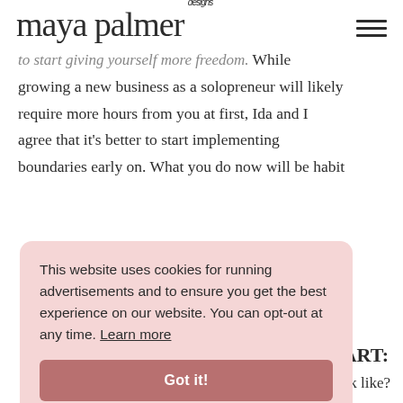maya palmer designs
to start giving yourself more freedom. While growing a new business as a solopreneur will likely require more hours from you at first, Ida and I agree that it's better to start implementing boundaries early on. What you do now will be habit
This website uses cookies for running advertisements and to ensure you get the best experience on our website. You can opt-out at any time. Learn more
Got it!
ART:
ok like?